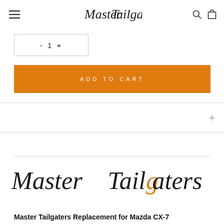Master Tailgaters (navigation header with hamburger menu, logo, search and cart icons)
[Figure (screenshot): Quantity selector box showing '1' with increment/decrement controls]
[Figure (screenshot): Orange ADD TO CART button]
[Figure (logo): Master Tailgaters script logo in large format]
Master Tailgaters Replacement for Mazda CX-7